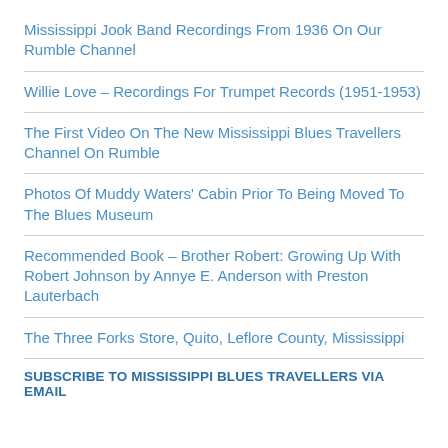Mississippi Jook Band Recordings From 1936 On Our Rumble Channel
Willie Love – Recordings For Trumpet Records (1951-1953)
The First Video On The New Mississippi Blues Travellers Channel On Rumble
Photos Of Muddy Waters' Cabin Prior To Being Moved To The Blues Museum
Recommended Book – Brother Robert: Growing Up With Robert Johnson by Annye E. Anderson with Preston Lauterbach
The Three Forks Store, Quito, Leflore County, Mississippi
SUBSCRIBE TO MISSISSIPPI BLUES TRAVELLERS VIA EMAIL